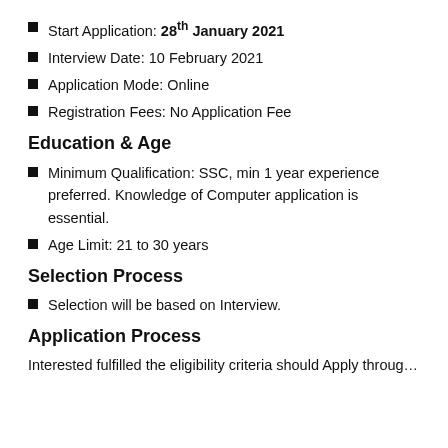Start Application: 28th January 2021
Interview Date: 10 February 2021
Application Mode: Online
Registration Fees: No Application Fee
Education & Age
Minimum Qualification: SSC, min 1 year experience preferred. Knowledge of Computer application is essential.
Age Limit: 21 to 30 years
Selection Process
Selection will be based on Interview.
Application Process
Interested fulfilled the eligibility criteria should Apply through...